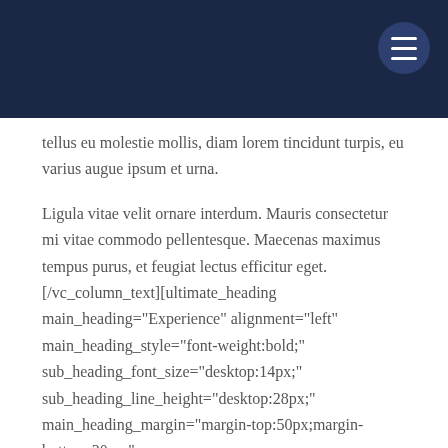tellus eu molestie mollis, diam lorem tincidunt turpis, eu varius augue ipsum et urna.
Ligula vitae velit ornare interdum. Mauris consectetur mi vitae commodo pellentesque. Maecenas maximus tempus purus, et feugiat lectus efficitur eget.[/vc_column_text][ultimate_heading main_heading="Experience" alignment="left" main_heading_style="font-weight:bold;" sub_heading_font_size="desktop:14px;" sub_heading_line_height="desktop:28px;" main_heading_margin="margin-top:50px;margin-bottom:20px;" main_heading_font_size="desktop:24px;" main_heading_line_height="desktop:34px;"][/ultimate_heading][vc_column_text]Ut semper magna nec nulla tempor, at tempus nunc mollis. In pulvinar ullamcorper nisi. Donec non maximus